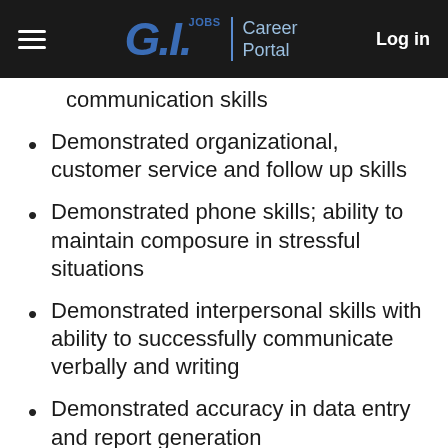GI.Jobs | Career Portal  Log in
communication skills
Demonstrated organizational, customer service and follow up skills
Demonstrated phone skills; ability to maintain composure in stressful situations
Demonstrated interpersonal skills with ability to successfully communicate verbally and writing
Demonstrated accuracy in data entry and report generation